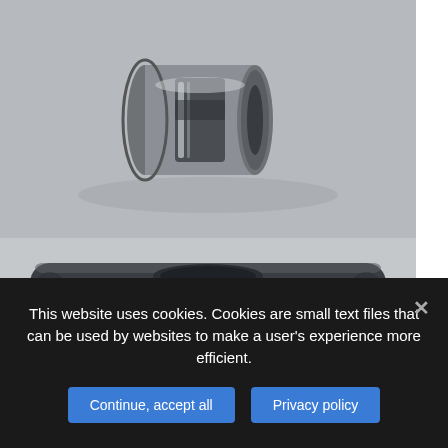[Figure (photo): Two product photos of machined metal parts on a light gray background. Top photo shows a cylindrical steel spool/roller part with grooved center and flanged ends, viewed from the side. Bottom photo shows a dark metal rectangular bracket or housing with rounded corners and a circular recess on top.]
This website uses cookies. Cookies are small text files that can be used by websites to make a user's experience more efficient.